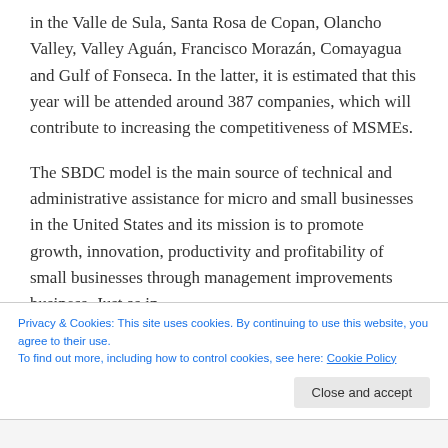in the Valle de Sula, Santa Rosa de Copan, Olancho Valley, Valley Aguán, Francisco Morazán, Comayagua and Gulf of Fonseca. In the latter, it is estimated that this year will be attended around 387 companies, which will contribute to increasing the competitiveness of MSMEs.
The SBDC model is the main source of technical and administrative assistance for micro and small businesses in the United States and its mission is to promote growth, innovation, productivity and profitability of small businesses through management improvements business. Just as in
Privacy & Cookies: This site uses cookies. By continuing to use this website, you agree to their use.
To find out more, including how to control cookies, see here: Cookie Policy
Close and accept